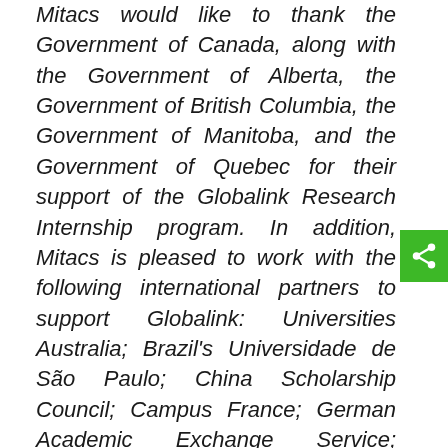Mitacs would like to thank the Government of Canada, along with the Government of Alberta, the Government of British Columbia, the Government of Manitoba, and the Government of Quebec for their support of the Globalink Research Internship program. In addition, Mitacs is pleased to work with the following international partners to support Globalink: Universities Australia; Brazil's Universidade de São Paulo; China Scholarship Council; Campus France; German Academic Exchange Service; Mexico's Government of the State of Guanajuato, EDUCAFIN, and Tecnológico de Monterrey; Ministère de l'Enseignement supérieur, de la Recherche scientifique, des Technologies de l'Information et de la Communication de la Tunisie and Mission…